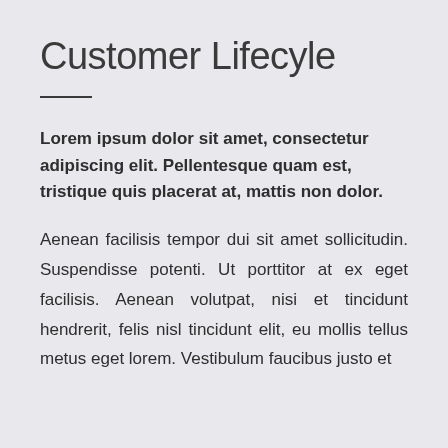Customer Lifecyle
Lorem ipsum dolor sit amet, consectetur adipiscing elit. Pellentesque quam est, tristique quis placerat at, mattis non dolor.
Aenean facilisis tempor dui sit amet sollicitudin. Suspendisse potenti. Ut porttitor at ex eget facilisis. Aenean volutpat, nisi et tincidunt hendrerit, felis nisl tincidunt elit, eu mollis tellus metus eget lorem. Vestibulum faucibus justo et